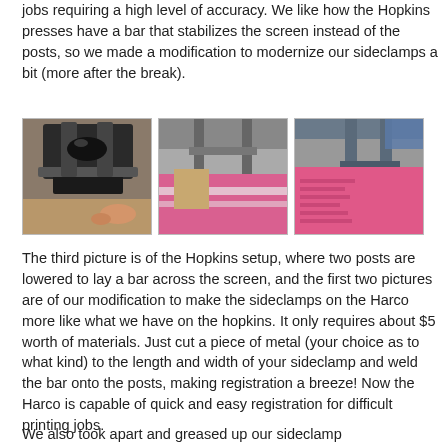jobs requiring a high level of accuracy. We like how the Hopkins presses have a bar that stabilizes the screen instead of the posts, so we made a modification to modernize our sideclamps a bit (more after the break).
[Figure (photo): Three photographs of screen printing press equipment. Left: close-up of a Harco press sideclamp mechanism. Center: press with pink ink on screen. Right: Hopkins press setup with bar across screen, pink ink visible.]
The third picture is of the Hopkins setup, where two posts are lowered to lay a bar across the screen, and the first two pictures are of our modification to make the sideclamps on the Harco more like what we have on the hopkins. It only requires about $5 worth of materials. Just cut a piece of metal (your choice as to what kind) to the length and width of your sideclamp and weld the bar onto the posts, making registration a breeze! Now the Harco is capable of quick and easy registration for difficult printing jobs.
We also took apart and greased up our sideclamp microregistration to